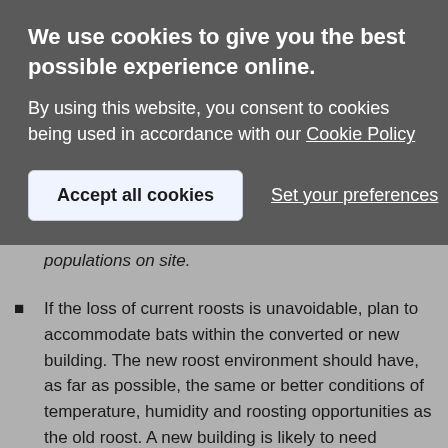We use cookies to give you the best possible experience online.
By using this website, you consent to cookies being used in accordance with our Cookie Policy
Accept all cookies
Set your preferences
populations on site.
If the loss of current roosts is unavoidable, plan to accommodate bats within the converted or new building. The new roost environment should have, as far as possible, the same or better conditions of temperature, humidity and roosting opportunities as the old roost. A new building is likely to need planning permission and obtaining this would